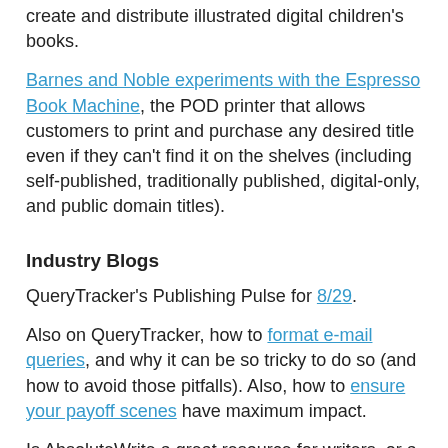create and distribute illustrated digital children's books.
Barnes and Noble experiments with the Espresso Book Machine, the POD printer that allows customers to print and purchase any desired title even if they can't find it on the shelves (including self-published, traditionally published, digital-only, and public domain titles).
Industry Blogs
QueryTracker's Publishing Pulse for 8/29.
Also on QueryTracker, how to format e-mail queries, and why it can be so tricky to do so (and how to avoid those pitfalls). Also, how to ensure your payoff scenes have maximum impact.
Is AbsoluteWrite a great resource for writers, or a bully-board? Victoria Strauss weighs in, and her verdict is that the smear campaign against AbsoluteWrite is unjustified. Not just with an endorsement, but with a critical look at the major